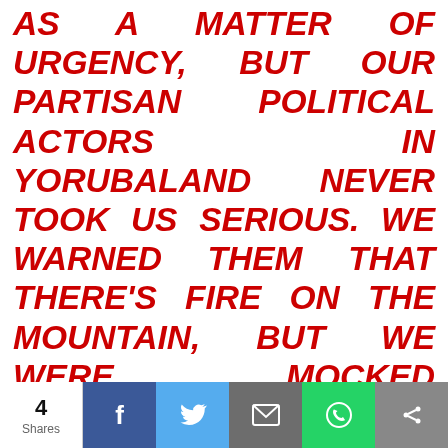AS A MATTER OF URGENCY, BUT OUR PARTISAN POLITICAL ACTORS IN YORUBALAND NEVER TOOK US SERIOUS. WE WARNED THEM THAT THERE'S FIRE ON THE MOUNTAIN, BUT WE WERE MOCKED BECAUSE OF THEIR PERSONAL AGGRANDISEMENT.
“TODAY WE HAVE ALL BEEN
We use cookies on our website to give you the most relevant experience by remembering your preferences and repeat visits. By clicking “Accept All”, you consent to the use of ALL the cookies. However, you may visit "Cookie Settings" to provide a controlled consent.
4 Shares